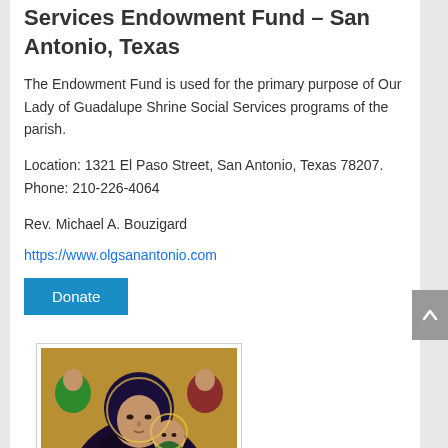Services Endowment Fund – San Antonio, Texas
The Endowment Fund is used for the primary purpose of Our Lady of Guadalupe Shrine Social Services programs of the parish.
Location: 1321 El Paso Street, San Antonio, Texas 78207. Phone: 210-226-4064
Rev. Michael A. Bouzigard
https://www.olgsanantonio.com
Donate
[Figure (illustration): Religious icon depicting the Mother of Perpetual Help (Our Lady of Perpetual Help), a Byzantine-style icon showing Mary holding the Christ child, with angels in the upper corners. Gold background, framed in a white card border.]
Mother of Perpetual Help